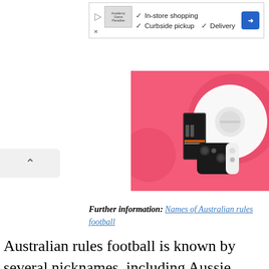[Figure (screenshot): Advertisement banner showing a game store with checkmarks for In-store shopping, Curbside pickup, and Delivery, with a blue diamond direction arrow icon.]
[Figure (photo): Advertisement image on pink/coral background showing electronic products including a smartphone, Nintendo Switch controller, and a white robot vacuum cleaner.]
Further information: Names of Australian rules football
Australian rules football is known by several nicknames, including Aussie rules, football a footy. [9] In some regions, the Australian Footl